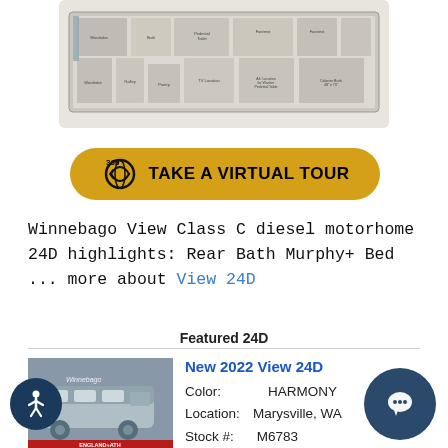[Figure (illustration): Winnebago View 24D RV floor plan schematic showing interior layout with labeled rooms and features]
[Figure (other): Golden/yellow rounded button with 360-degree icon and text TAKE A VIRTUAL TOUR]
Winnebago View Class C diesel motorhome 24D highlights: Rear Bath Murphy+ Bed ... more about View 24D
Featured 24D
[Figure (photo): Photo of a Winnebago View 24D Class C motorhome in silver/grey color]
New 2022 View 24D
Color: HARMONY
Location: Marysville, WA
Stock #: M6783